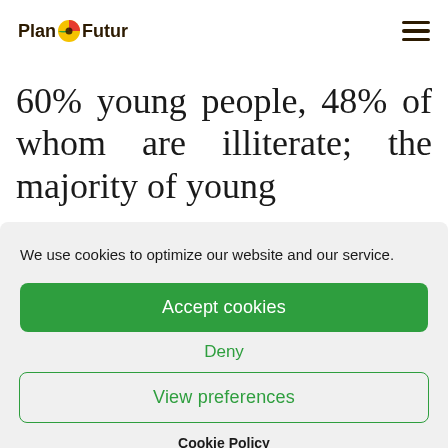[Figure (logo): Plan Futur logo with colored circle between 'Plan' and 'Futur' text]
60% young people, 48% of whom are illiterate; the majority of young
We use cookies to optimize our website and our service.
Accept cookies
Deny
View preferences
Cookie Policy